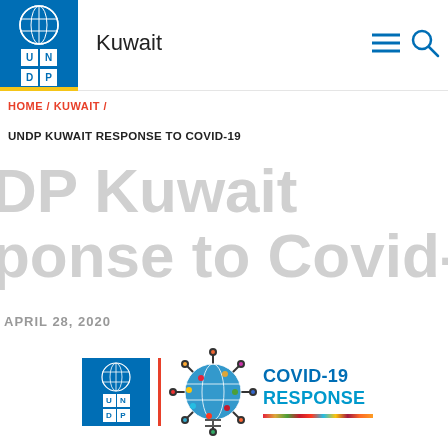Kuwait
HOME / KUWAIT /
UNDP KUWAIT RESPONSE TO COVID-19
DP Kuwait Response to Covid-19
APRIL 28, 2020
[Figure (logo): UNDP COVID-19 Response logo: UNDP blue logo square with globe, red vertical divider, coronavirus globe icon, and COVID-19 RESPONSE text in blue with SDG rainbow bar]